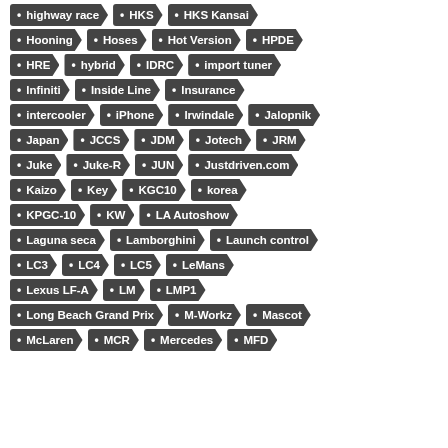highway race
HKS
HKS Kansai
Hooning
Hoses
Hot Version
HPDE
HRE
hybrid
IDRC
import tuner
Infiniti
Inside Line
Insurance
intercooler
iPhone
Irwindale
Jalopnik
Japan
JCCS
JDM
Jotech
JRM
Juke
Juke-R
JUN
Justdriven.com
Kaizo
Key
KGC10
korea
KPGC-10
KW
LA Autoshow
Laguna seca
Lamborghini
Launch control
LC3
LC4
LC5
LeMans
Lexus LF-A
LM
LMP1
Long Beach Grand Prix
M-Workz
Mascot
McLaren
MCR
Mercedes
MFD